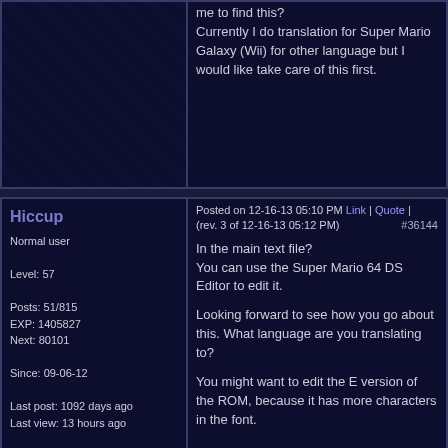me to find this? Currently I do translation for Super Mario Galaxy (Wii) for other language but I would like take care of this first.
Hiccup
Normal user
Level: 57
Posts: 51/815
EXP: 1405827
Next: 80101
Since: 09-06-12
Last post: 1092 days ago
Last view: 13 hours ago
Posted on 12-16-13 05:10 PM (rev. 3 of 12-16-13 05:12 PM) Link | Quote | #36144
In the main text file? You can use the Super Mario 64 DS Editor to edit it.

Looking forward to see how you go about this. What language are you translating to?

You might want to edit the E version of the ROM, because it has more characters in the font.
Skelux
Banned
Level: 27
Posts: 93/148
EXP: 107565
Next: 8594
Since: 11-27-12
Posted on 12-16-13 05:16 PM Link | Quote | #36145
I've been working on this on and off, so far I have discovered that the Nintendo logo is at 0x8D8C4 in the ARM9 file. The menu button graphics can be found in texBank_E.bmd. I believe title screen graphics are stored in